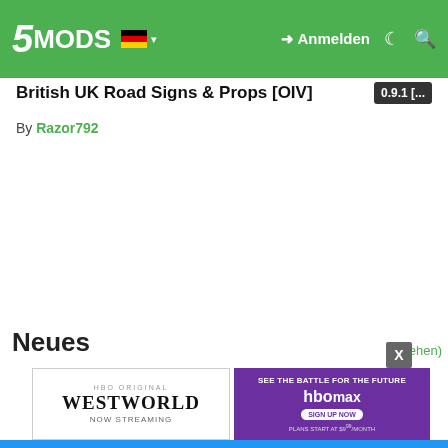5MODS  Anmelden
British UK Road Signs & Props [OIV]
0.9.1 [...
By Razor792
Neues
[Figure (screenshot): HBO Original Westworld NOW STREAMING advertisement banner]
[Figure (screenshot): SEE THE BATTLE FOR THE FUTURE HBOMAX SIGN UP NOW PLANS START AT $9.99/MONTH advertisement banner with X close button]
ansehen)